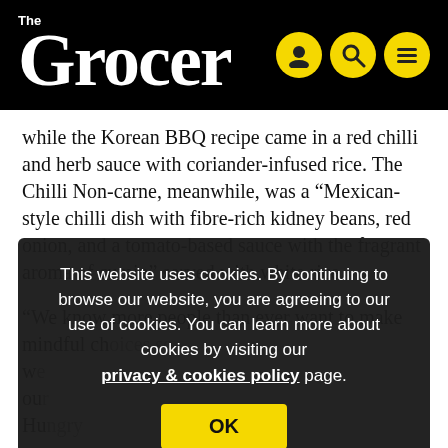The Grocer
while the Korean BBQ recipe came in a red chilli and herb sauce with coriander-infused rice. The Chilli Non-carne, meanwhile, was a “Mexican-style chilli dish with fibre-rich kidney beans, red onion, and a tomato-based sauce with the fragrant aroma of cumin” served with white rice.
“We know more people than ever want to make mindful ch[oices] ... so w[e] ... ou[r] ... Hu[ngry]...
[Figure (screenshot): Cookie consent overlay with text: This website uses cookies. By continuing to browse our website, you are agreeing to our use of cookies. You can learn more about cookies by visiting our privacy & cookies policy page. OK button in yellow.]
Th[e products are available at] (rsp: £3.50/400g), while the frozen trio will hit 400 Morrisons stores from 11 July (£3/400g).